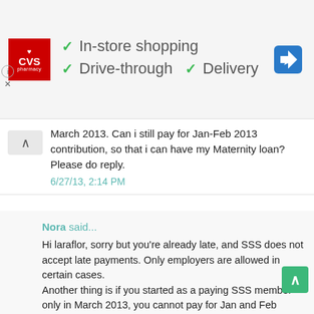[Figure (screenshot): CVS Pharmacy ad banner with logo, checkmarks for In-store shopping, Drive-through, Delivery features, and a navigation arrow icon]
March 2013. Can i still pay for Jan-Feb 2013 contribution, so that i can have my Maternity loan? Please do reply.
6/27/13, 2:14 PM
Nora said...
Hi laraflor, sorry but you're already late, and SSS does not accept late payments. Only employers are allowed in certain cases.
Another thing is if you started as a paying SSS member only in March 2013, you cannot pay for Jan and Feb because you were not yet registered in Jan 2013. Puede lang magbayad as Employed if registered by employer, or magbayad as Self-Employed if RS1 form is filed and approved by SSS. Puede lang ang Voluntary after na-Employed or self-employed.
7/2/13, 11:40 PM